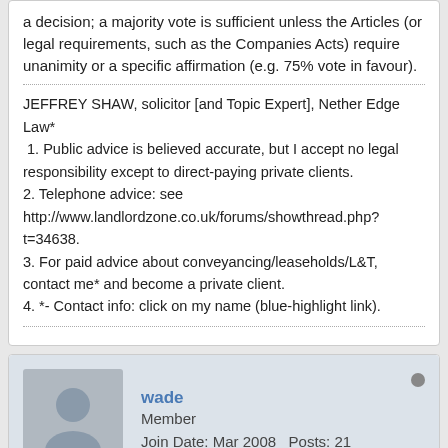a decision; a majority vote is sufficient unless the Articles (or legal requirements, such as the Companies Acts) require unanimity or a specific affirmation (e.g. 75% vote in favour).
JEFFREY SHAW, solicitor [and Topic Expert], Nether Edge Law*
1. Public advice is believed accurate, but I accept no legal responsibility except to direct-paying private clients.
2. Telephone advice: see http://www.landlordzone.co.uk/forums/showthread.php?t=34638.
3. For paid advice about conveyancing/leaseholds/L&T, contact me* and become a private client.
4. *- Contact info: click on my name (blue-highlight link).
wade
Member
Join Date: Mar 2008   Posts: 21
04-03-2008, 12:22 PM
#14
Jeffrey